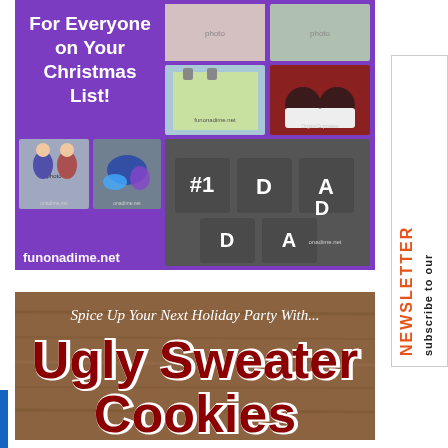[Figure (infographic): Purple background Christmas gift ideas collage from funonadime.net with text 'For Everyone on Your Christmas List!' and multiple product/craft photos in a grid layout including dad blocks, knitted bag, cupcakes, girls in costumes, and jewelry]
[Figure (infographic): Holiday party image with wooden background, text reading 'Spice Up Your Next Holiday Party With... Ugly Sweater Cookies' in cursive and bold red Impact font]
[Figure (infographic): Sidebar subscribe to our newsletter graphic with vertical text in orange/red, rotated 90 degrees]